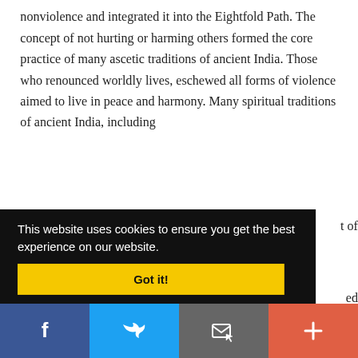nonviolence and integrated it into the Eightfold Path. The concept of not hurting or harming others formed the core practice of many ascetic traditions of ancient India. Those who renounced worldly lives, eschewed all forms of violence aimed to live in peace and harmony. Many spiritual traditions of ancient India, including
This website uses cookies to ensure you get the best experience on our website.
Got it!
[Figure (screenshot): Social media sharing bar with four buttons: Facebook (blue), Twitter (light blue), Email/save (grey), and Add/more (coral/red-orange)]